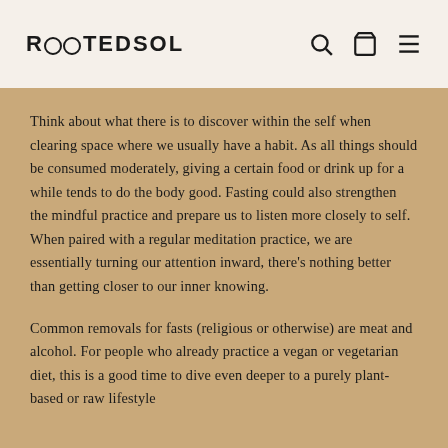ROOTEDSOL
Think about what there is to discover within the self when clearing space where we usually have a habit. As all things should be consumed moderately, giving a certain food or drink up for a while tends to do the body good. Fasting could also strengthen the mindful practice and prepare us to listen more closely to self. When paired with a regular meditation practice, we are essentially turning our attention inward, there’s nothing better than getting closer to our inner knowing.
Common removals for fasts (religious or otherwise) are meat and alcohol. For people who already practice a vegan or vegetarian diet, this is a good time to dive even deeper to a purely plant-based or raw lifestyle